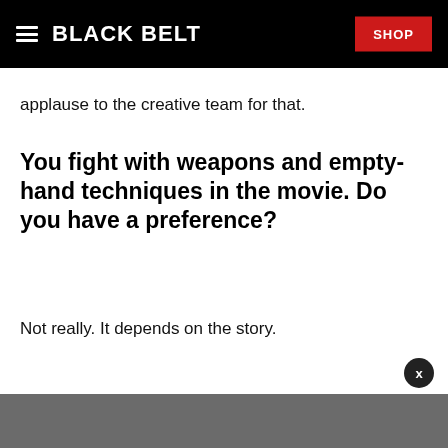BLACK BELT | SHOP
applause to the creative team for that.
You fight with weapons and empty-hand techniques in the movie. Do you have a preference?
Not really. It depends on the story.